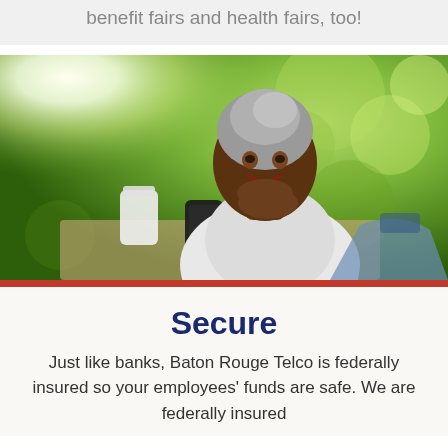benefit fairs and health fairs, too!
[Figure (photo): A middle-aged Black woman with gray braided hair sitting outdoors, smiling thoughtfully with her chin resting on her hand, holding a smartphone. Background shows green bokeh trees and sunlight.]
Secure
Just like banks, Baton Rouge Telco is federally insured so your employees' funds are safe. We are federally insured